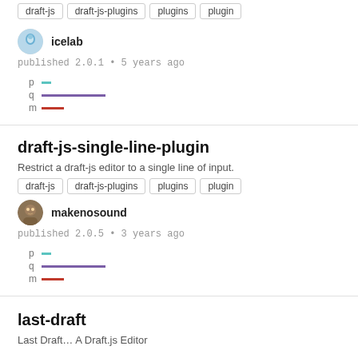draft-js draft-js-plugins plugins plugin (tags, top cut off)
icelab
published 2.0.1 • 5 years ago
[Figure (infographic): p q m bars: p = short cyan bar, q = long purple bar, m = short red bar]
draft-js-single-line-plugin
Restrict a draft-js editor to a single line of input.
draft-js
draft-js-plugins
plugins
plugin
makenosound
published 2.0.5 • 3 years ago
[Figure (infographic): p q m bars: p = short cyan bar, q = long purple bar, m = short red bar]
last-draft
Last Draft… A Draft.js Editor